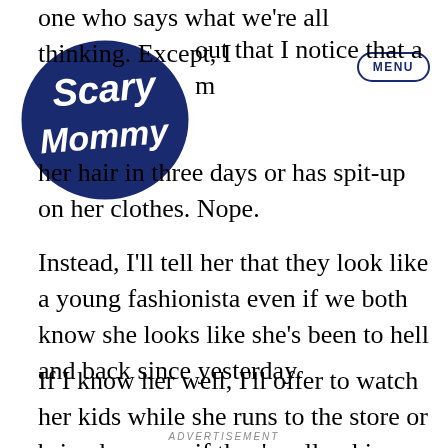[Figure (logo): Scary Mommy logo in dark navy blue, rounded bubbly lettering]
[Figure (other): MENU button with oval border outline]
one who says what we're all thinking. Except, I out that I notice that a m her hair in three days or has spit-up on her clothes. Nope.
Instead, I'll tell her that they look like a young fashionista even if we both know she looks like she's been to hell and back since yesterday.
If I know her well, I'll offer to watch her kids while she runs to the store or bring her soup if they're all puking.
ADVERTISEMENT